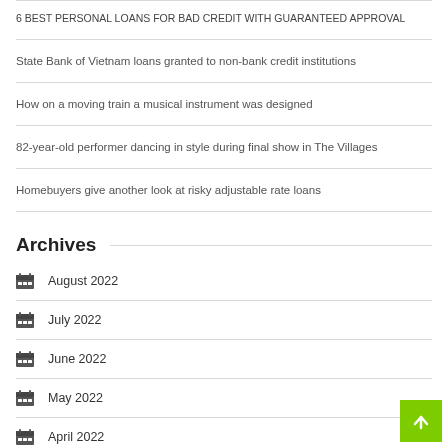6 BEST PERSONAL LOANS FOR BAD CREDIT WITH GUARANTEED APPROVAL
State Bank of Vietnam loans granted to non-bank credit institutions
How on a moving train a musical instrument was designed
82-year-old performer dancing in style during final show in The Villages
Homebuyers give another look at risky adjustable rate loans
Archives
August 2022
July 2022
June 2022
May 2022
April 2022